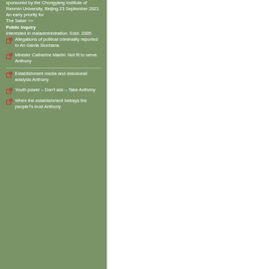sponsored by the Chongyang Institute of Renmin University, Beijing 23 September 2021 An early priority for
The Saker >>
Public Inquiry
Interested in maladministration. Estd. 2005
Allegations of political criminality reported to An Garda Siochana
Minister Catherine Martin: Not fit to serve Anthony
Establishment media and delusional analysis Anthony
Youth power – Don't ask – Take Anthony
When the establishment betrays the people?s trust Anthony